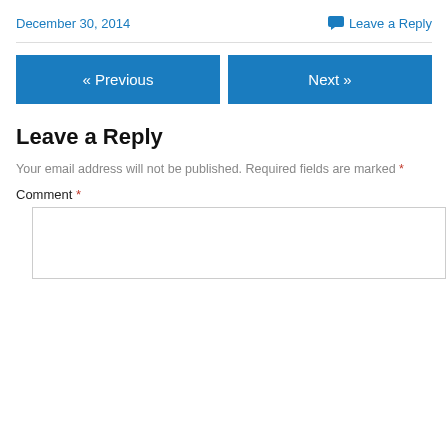December 30, 2014
Leave a Reply
« Previous
Next »
Leave a Reply
Your email address will not be published. Required fields are marked *
Comment *